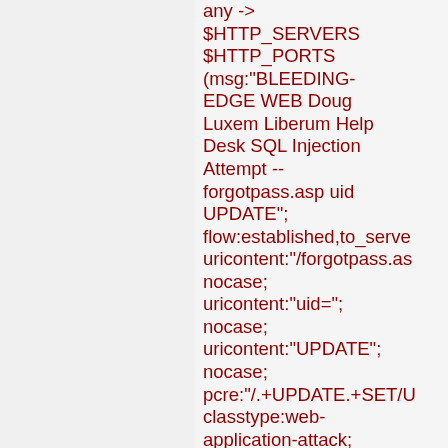any -> $HTTP_SERVERS $HTTP_PORTS (msg:"BLEEDING-EDGE WEB Doug Luxem Liberum Help Desk SQL Injection Attempt -- forgotpass.asp uid UPDATE"; flow:established,to_serve uricontent:"/forgotpass.as nocase; uricontent:"uid="; nocase; uricontent:"UPDATE"; nocase; pcre:"/.+UPDATE.+SET/U classtype:web-application-attack; reference:cve,CVE-2006-6161; reference:url,www.frsirt.co